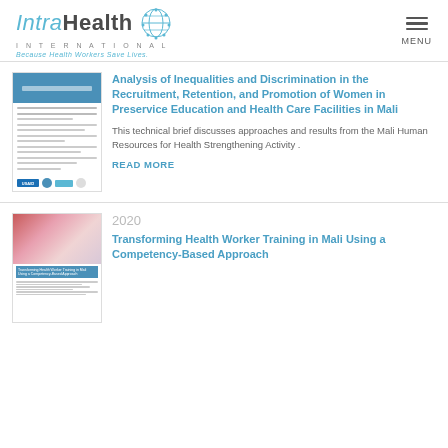IntraHealth International — Because Health Workers Save Lives — MENU
[Figure (screenshot): Thumbnail of report document with blue header and USAID/IntraHealth logos]
Analysis of Inequalities and Discrimination in the Recruitment, Retention, and Promotion of Women in Preservice Education and Health Care Facilities in Mali
This technical brief discusses approaches and results from the Mali Human Resources for Health Strengthening Activity .
READ MORE
[Figure (screenshot): Thumbnail of report document with photo of healthcare workers and document text]
2020
Transforming Health Worker Training in Mali Using a Competency-Based Approach